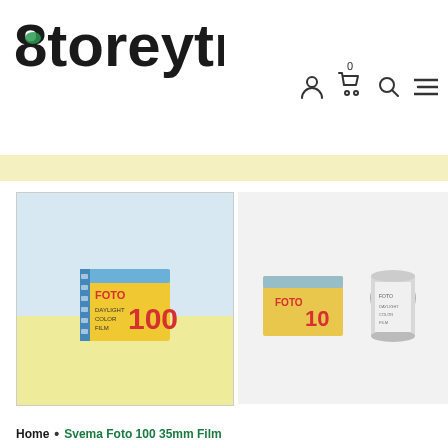[Figure (logo): 8toreytree logo — bold stylized text with a green-accented '8' shape]
[Figure (other): Navigation icons: user account, shopping cart with badge '0', search, and hamburger menu]
[Figure (photo): Product photo left: Svema Foto 100 35mm film box on light blue and yellow background]
[Figure (photo): Product photo right: Svema Foto 100 35mm film box with film canister on white/light gray background]
Home • Svema Foto 100 35mm Film